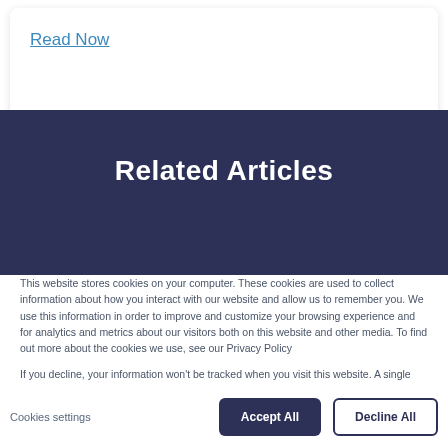Read Now
Related Articles
This website stores cookies on your computer. These cookies are used to collect information about how you interact with our website and allow us to remember you. We use this information in order to improve and customize your browsing experience and for analytics and metrics about our visitors both on this website and other media. To find out more about the cookies we use, see our Privacy Policy
If you decline, your information won't be tracked when you visit this website. A single cookie will be used in your browser to remember your preference not to be tracked.
Cookies settings
Accept All
Decline All